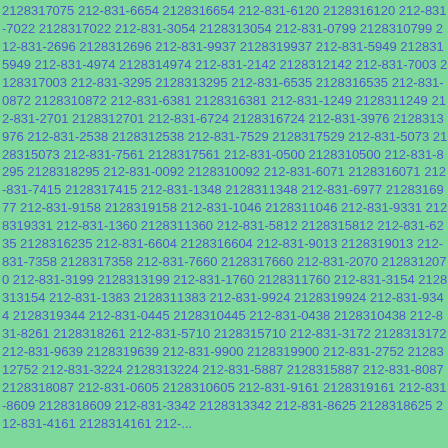2128317075 212-831-6654 2128316654 212-831-6120 2128316120 212-831-7022 2128317022 212-831-3054 2128313054 212-831-0799 2128310799 212-831-2696 2128312696 212-831-9937 2128319937 212-831-5949 2128315949 212-831-4974 2128314974 212-831-2142 2128312142 212-831-7003 2128317003 212-831-3295 2128313295 212-831-6535 2128316535 212-831-0872 2128310872 212-831-6381 2128316381 212-831-1249 2128311249 212-831-2701 2128312701 212-831-6724 2128316724 212-831-3976 2128313976 212-831-2538 2128312538 212-831-7529 2128317529 212-831-5073 2128315073 212-831-7561 2128317561 212-831-0500 2128310500 212-831-8295 2128318295 212-831-0092 2128310092 212-831-6071 2128316071 212-831-7415 2128317415 212-831-1348 2128311348 212-831-6977 2128316977 212-831-9158 2128319158 212-831-1046 2128311046 212-831-9331 2128319331 212-831-1360 2128311360 212-831-5812 2128315812 212-831-6235 2128316235 212-831-6604 2128316604 212-831-9013 2128319013 212-831-7358 2128317358 212-831-7660 2128317660 212-831-2070 2128312070 212-831-3199 2128313199 212-831-1760 2128311760 212-831-3154 2128313154 212-831-1383 2128311383 212-831-9924 2128319924 212-831-9344 2128319344 212-831-0445 2128310445 212-831-0438 2128310438 212-831-8261 2128318261 212-831-5710 2128315710 212-831-3172 2128313172 212-831-9639 2128319639 212-831-9900 2128319900 212-831-2752 2128312752 212-831-3224 2128313224 212-831-5887 2128315887 212-831-8087 2128318087 212-831-0605 2128310605 212-831-9161 2128319161 212-831-8609 2128318609 212-831-3342 2128313342 212-831-8625 2128318625 212-831-4161 2128314161 212-...